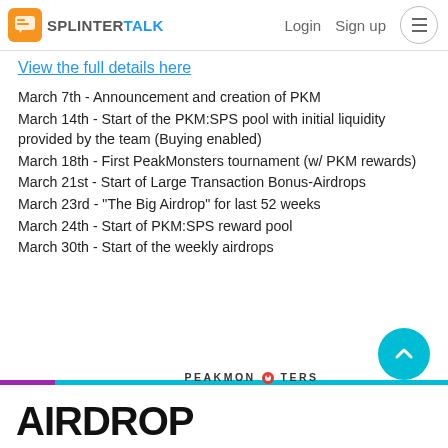SPLITERTALK | Login | Sign up
View the full details here
March 7th - Announcement and creation of PKM
March 14th - Start of the PKM:SPS pool with initial liquidity provided by the team (Buying enabled)
March 18th - First PeakMonsters tournament (w/ PKM rewards)
March 21st - Start of Large Transaction Bonus-Airdrops
March 23rd - "The Big Airdrop" for last 52 weeks
March 24th - Start of PKM:SPS reward pool
March 30th - Start of the weekly airdrops
[Figure (logo): PeakMonsters banner bar with purple and teal colors]
AIRDROP